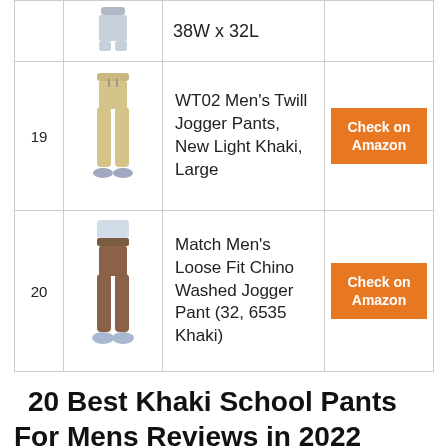| # | Image | Product | Link |
| --- | --- | --- | --- |
|  |  | 38W x 32L |  |
| 19 | [image] | WT02 Men’s Twill Jogger Pants, New Light Khaki, Large | Check on Amazon |
| 20 | [image] | Match Men’s Loose Fit Chino Washed Jogger Pant (32, 6535 Khaki) | Check on Amazon |
20 Best Khaki School Pants For Mens Reviews in 2022